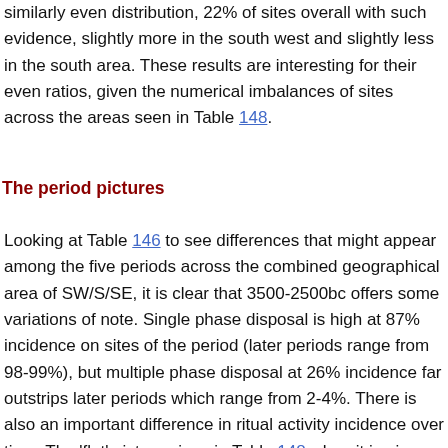similarly even distribution, 22% of sites overall with such evidence, slightly more in the south west and slightly less in the south area. These results are interesting for their even ratios, given the numerical imbalances of sites across the areas seen in Table 148.
The period pictures
Looking at Table 146 to see differences that might appear among the five periods across the combined geographical area of SW/S/SE, it is clear that 3500-2500bc offers some variations of note. Single phase disposal is high at 87% incidence on sites of the period (later periods range from 98-99%), but multiple phase disposal at 26% incidence far outstrips later periods which range from 2-4%. There is also an important difference in ritual activity incidence over time. The 'flat' picture given in Table 148 when it is given the dimension of period...